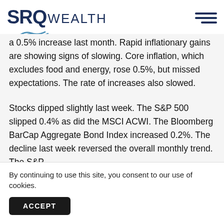SRQ WEALTH
a 0.5% increase last month. Rapid inflationary gains are showing signs of slowing. Core inflation, which excludes food and energy, rose 0.5%, but missed expectations. The rate of increases also slowed.
Stocks dipped slightly last week. The S&P 500 slipped 0.4% as did the MSCI ACWI. The Bloomberg BarCap Aggregate Bond Index increased 0.2%. The decline last week reversed the overall monthly trend. The S&P 5... le...
By continuing to use this site, you consent to our use of cookies.